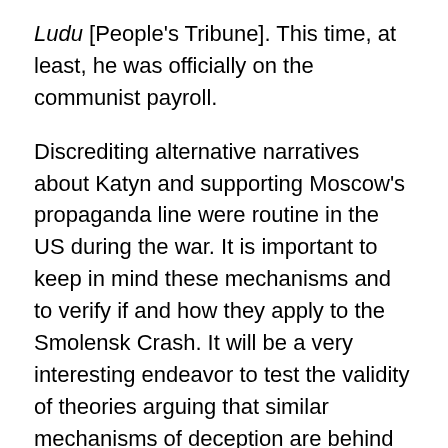Ludu [People's Tribune]. This time, at least, he was officially on the communist payroll.
Discrediting alternative narratives about Katyn and supporting Moscow's propaganda line were routine in the US during the war. It is important to keep in mind these mechanisms and to verify if and how they apply to the Smolensk Crash. It will be a very interesting endeavor to test the validity of theories arguing that similar mechanisms of deception are behind both Katyn and Smolensk.
Let us look at the case of Smolensk in the West. The Poles are once again inconvenient. And yet again the Western powers fail to support Poland as a matter of official policy. Smolensk is considered a closed case, yesterday's news. The White House has practically buried